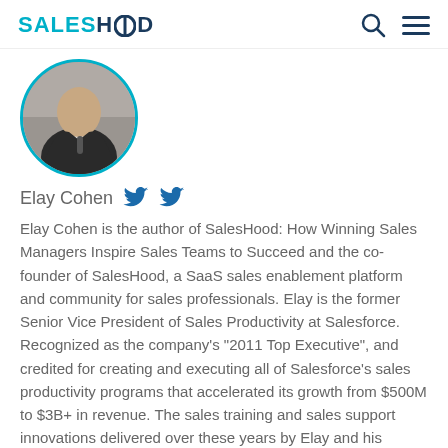SALESHOOD
[Figure (photo): Circular profile photo of Elay Cohen, cropped at top showing a man in a dark suit holding a microphone against a blurred background]
Elay Cohen
Elay Cohen is the author of SalesHood: How Winning Sales Managers Inspire Sales Teams to Succeed and the co-founder of SalesHood, a SaaS sales enablement platform and community for sales professionals. Elay is the former Senior Vice President of Sales Productivity at Salesforce. Recognized as the company's "2011 Top Executive", and credited for creating and executing all of Salesforce's sales productivity programs that accelerated its growth from $500M to $3B+ in revenue. The sales training and sales support innovations delivered over these years by Elay and his